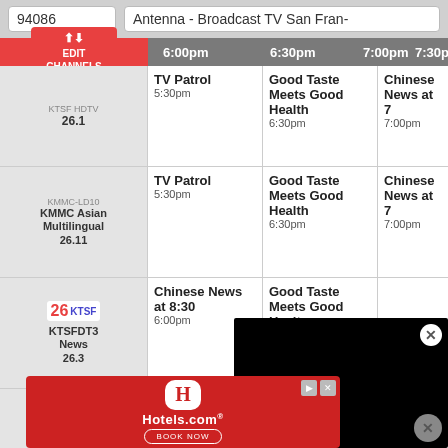94086
Antenna - Broadcast TV San Fran-
| Channel | 6:00pm | 6:30pm | 7:00pm | 7:30pm |
| --- | --- | --- | --- | --- |
| KTSF HDTV 26.1 | TV Patrol 5:30pm | Good Taste Meets Good Health 6:30pm | Chinese News at 7 7:00pm | 7:30pm |
| KMMC Asian Multilingual 26.11 | TV Patrol 5:30pm | Good Taste Meets Good Health 6:30pm | Chinese News at 7 7:00pm |  |
| KTSFDT3 News 26.3 | Chinese News at 8:30 6:00pm | Good Taste Meets Good Health 6:30pm |  |  |
| KTSF VIET... 26 |  |  | hip Song ong Dong 40pm |  |
[Figure (screenshot): Black video player overlay with close button]
[Figure (infographic): Hotels.com advertisement with red background, logo, and BOOK NOW button]